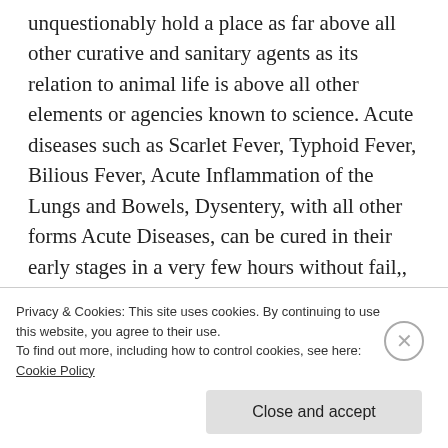unquestionably hold a place as far above all other curative and sanitary agents as its relation to animal life is above all other elements or agencies known to science. Acute diseases such as Scarlet Fever, Typhoid Fever, Bilious Fever, Acute Inflammation of the Lungs and Bowels, Dysentery, with all other forms Acute Diseases, can be cured in their early stages in a very few hours without fail,, so if you or your family are attacked with any acute di...
Privacy & Cookies: This site uses cookies. By continuing to use this website, you agree to their use.
To find out more, including how to control cookies, see here:
Cookie Policy
Close and accept